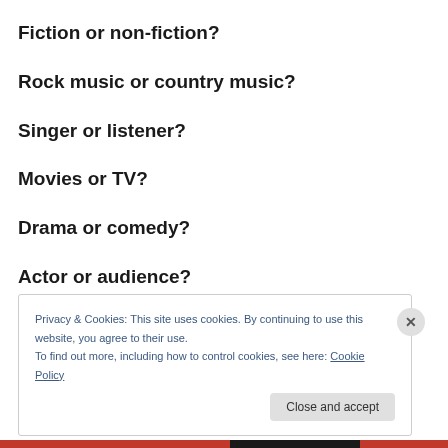Fiction or non-fiction?
Rock music or country music?
Singer or listener?
Movies or TV?
Drama or comedy?
Actor or audience?
Privacy & Cookies: This site uses cookies. By continuing to use this website, you agree to their use.
To find out more, including how to control cookies, see here: Cookie Policy
Close and accept